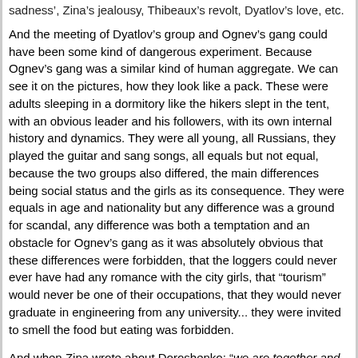sadness', Zina's jealousy, Thibeaux's revolt, Dyatlov's love, etc.
And the meeting of Dyatlov's group and Ognev's gang could have been some kind of dangerous experiment. Because Ognev's gang was a similar kind of human aggregate. We can see it on the pictures, how they look like a pack. These were adults sleeping in a dormitory like the hikers slept in the tent, with an obvious leader and his followers, with its own internal history and dynamics. They were all young, all Russians, they played the guitar and sang songs, all equals but not equal, because the two groups also differed, the main differences being social status and the girls as its consequence. They were equals in age and nationality but any difference was a ground for scandal, any difference was both a temptation and an obstacle for Ognev's gang as it was absolutely obvious that these differences were forbidden, that the loggers could never ever have had any romance with the city girls, that "tourism" would never be one of their occupations, that they would never graduate in engineering from any university... they were invited to smell the food but eating was forbidden.
And when Zina wrote about Doroshenko: "we are together and yet we're not together"... she was giving us a very important clue about Dyatlov's group. Because when the hikers met the loggers, the immediate task of the loggers was to evaluate the availability of the girls... they tried to understand the web of relationships among the hikers: who is with who? But they could only understand that